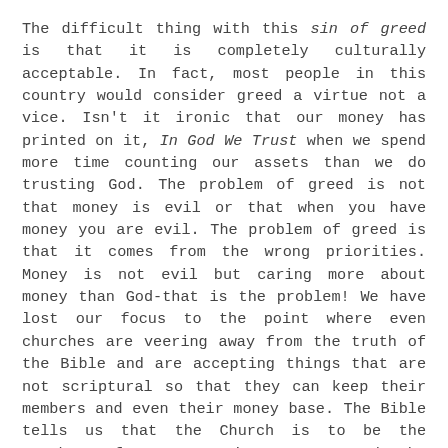The difficult thing with this sin of greed is that it is completely culturally acceptable. In fact, most people in this country would consider greed a virtue not a vice. Isn't it ironic that our money has printed on it, In God We Trust when we spend more time counting our assets than we do trusting God. The problem of greed is not that money is evil or that when you have money you are evil. The problem of greed is that it comes from the wrong priorities. Money is not evil but caring more about money than God-that is the problem! We have lost our focus to the point where even churches are veering away from the truth of the Bible and are accepting things that are not scriptural so that they can keep their members and even their money base. The Bible tells us that the Church is to be the Watchman for our society, to sound the alarm. Unfortunately, we have lost our focus.
The Taj Mahal is a good example. It is one of the most